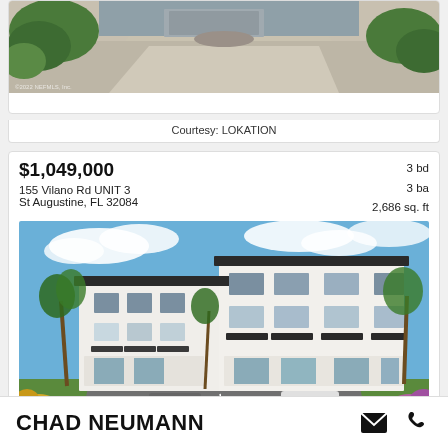[Figure (photo): Top portion of a driveway and house exterior photo, partially cropped at top]
Courtesy: LOKATION
$1,049,000
155 Vilano Rd UNIT 3
St Augustine, FL 32084
3 bd  3 ba  2,686 sq. ft
[Figure (photo): Rendering of a modern white multi-story building with palm trees and cars in parking lot]
Courtesy: KELLER WILLIAMS REALTY ATLANTIC PARTNERS ST. AUGUSTINE
CHAD NEUMANN